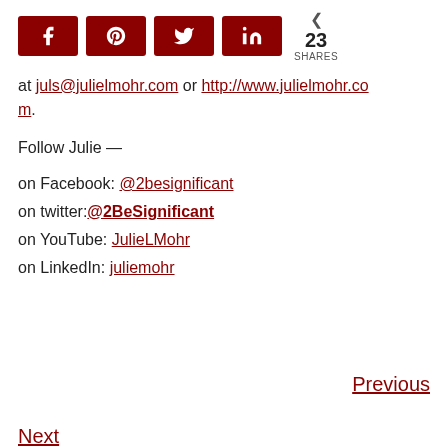[Figure (other): Social share bar with Facebook, Pinterest, Twitter, LinkedIn buttons (dark red) and share count showing 23 SHARES]
at juls@julielmohr.com or http://www.julielmohr.com.
Follow Julie —
on Facebook: @2besignificant
on twitter:@2BeSignificant
on YouTube: JulieLMohr
on LinkedIn: juliemohr
Previous
Next